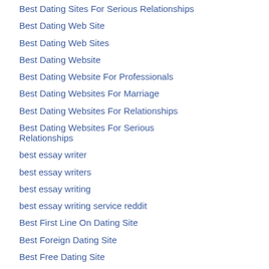Best Dating Sites For Serious Relationships
Best Dating Web Site
Best Dating Web Sites
Best Dating Website
Best Dating Website For Professionals
Best Dating Websites For Marriage
Best Dating Websites For Relationships
Best Dating Websites For Serious Relationships
best essay writer
best essay writers
best essay writing
best essay writing service reddit
Best First Line On Dating Site
Best Foreign Dating Site
Best Free Dating Site